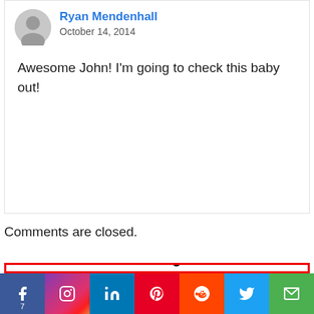Ryan Mendenhall
October 14, 2014
Awesome John! I'm going to check this baby out!
Comments are closed.
[Figure (other): Widget box with red border containing a photo of a man holding a book and bold text 'Book Marketing Success']
[Figure (other): Social sharing bar with Facebook, Instagram, LinkedIn, Pinterest, Reddit, Twitter, and Email buttons. Facebook shows count of 7.]